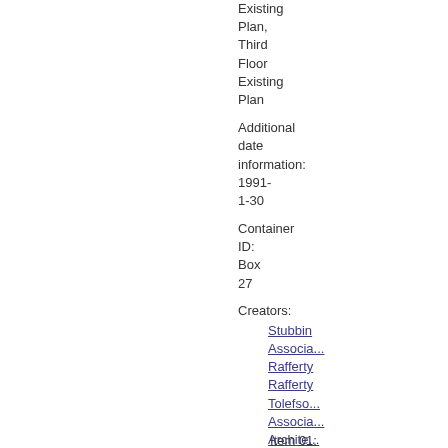Existing Plan, Third Floor Existing Plan
Additional date information: 1991-1-30
Container ID: Box 27
Creators:
Stubbin Associates
Rafferty
Rafferty
Tolefso Associates
Architec Research Facilities Design Inc
Item 01: